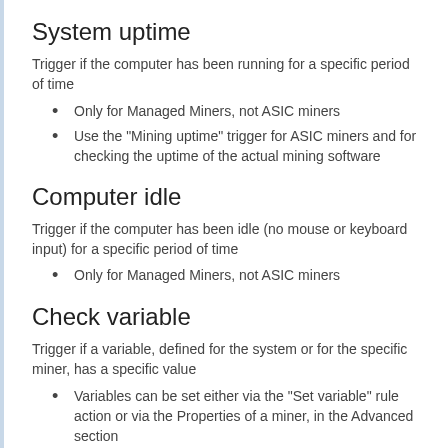System uptime
Trigger if the computer has been running for a specific period of time
Only for Managed Miners, not ASIC miners
Use the "Mining uptime" trigger for ASIC miners and for checking the uptime of the actual mining software
Computer idle
Trigger if the computer has been idle (no mouse or keyboard input) for a specific period of time
Only for Managed Miners, not ASIC miners
Check variable
Trigger if a variable, defined for the system or for the specific miner, has a specific value
Variables can be set either via the "Set variable" rule action or via the Properties of a miner, in the Advanced section
C# script
Develop a custom C# script to define a trigger. For advanced use cases only.